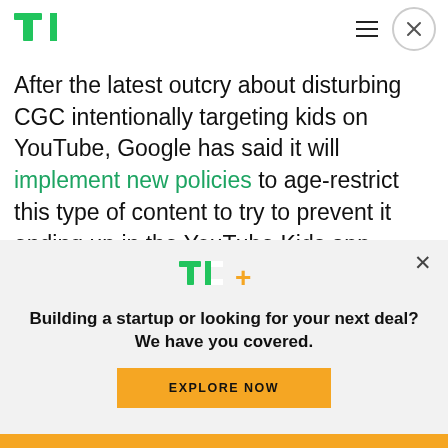TechCrunch logo, hamburger menu, close button
After the latest outcry about disturbing CGC intentionally targeting kids on YouTube, Google has said it will implement new policies to age-restrict this type of content to try to prevent it ending up in the YouTube Kids app, though a prior policy forbidding “inappropriate use of family characters” clearly hasn’t stemmed the low-brow flow of pop-culture soup.
[Figure (logo): TechCrunch TC+ logo in green and yellow]
Building a startup or looking for your next deal? We have you covered.
EXPLORE NOW